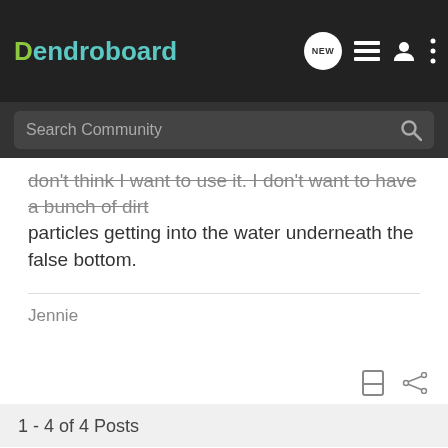Dendroboard
don't think I want to use it. I don't want to have a bunch of dirt particles getting into the water underneath the false bottom.
Jennie
1 - 4 of 4 Posts
This is an older thread, you may not receive a response, and could be reviving an old thread. Please consider creating a new thread.